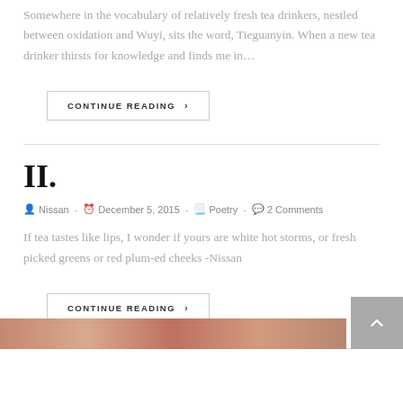Somewhere in the vocabulary of relatively fresh tea drinkers, nestled between oxidation and Wuyi, sits the word, Tieguanyin. When a new tea drinker thirsts for knowledge and finds me in…
CONTINUE READING ›
II.
Nissan  -  December 5, 2015  -  Poetry  -  2 Comments
If tea tastes like lips, I wonder if yours are white hot storms, or fresh picked greens or red plum-ed cheeks -Nissan
CONTINUE READING ›
[Figure (photo): Partial view of a reddish-orange colored image at the bottom of the page]